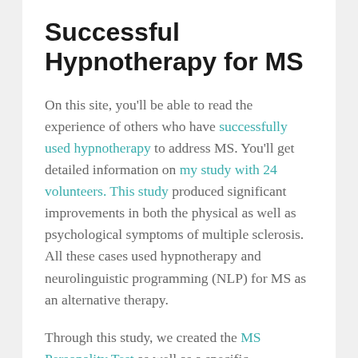Successful Hypnotherapy for MS
On this site, you'll be able to read the experience of others who have successfully used hypnotherapy to address MS. You'll get detailed information on my study with 24 volunteers. This study produced significant improvements in both the physical as well as psychological symptoms of multiple sclerosis.  All these cases used hypnotherapy and neurolinguistic programming (NLP) for MS as an alternative therapy.
Through this study, we created the MS Personality Test as well as a specific